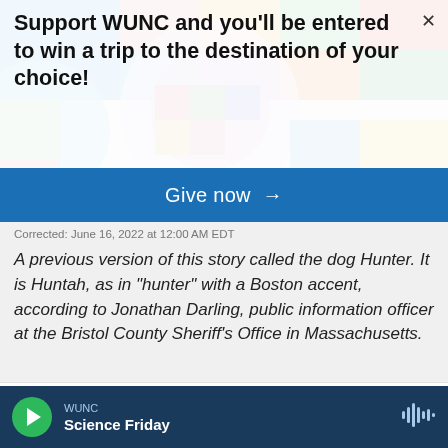[Figure (illustration): Colorful geometric background with circles and rectangles in blue, green, pink, red, yellow, teal colors]
Support WUNC and you'll be entered to win a trip to the destination of your choice!
Give now →
Corrected: June 16, 2022 at 12:00 AM EDT
A previous version of this story called the dog Hunter. It is Huntah, as in "hunter" with a Boston accent, according to Jonathan Darling, public information officer at the Bristol County Sheriff's Office in Massachusetts.
Tags    NPR News
WUNC Science Friday